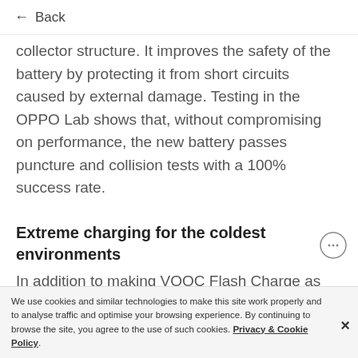← Back
collector structure. It improves the safety of the battery by protecting it from short circuits caused by external damage. Testing in the OPPO Lab shows that, without compromising on performance, the new battery passes puncture and collision tests with a 100% success rate.
Extreme charging for the coldest environments
In addition to making VOOC Flash Charge as smart and safe as possible.
We use cookies and similar technologies to make this site work properly and to analyse traffic and optimise your browsing experience. By continuing to browse the site, you agree to the use of such cookies. Privacy & Cookie Policy.